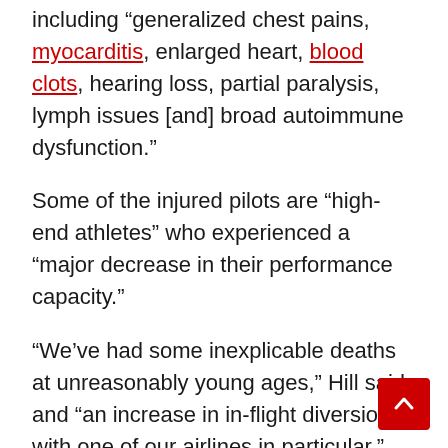including “generalized chest pains, myocarditis, enlarged heart, blood clots, hearing loss, partial paralysis, lymph issues [and] broad autoimmune dysfunction.”
Some of the injured pilots are “high-end athletes” who experienced a “major decrease in their performance capacity.”
“We’ve had some inexplicable deaths at unreasonably young ages,” Hill said, and “an increase in in-flight diversions with one of our airlines in particular.”
While Hill left open the possibility that at least some of these incidents weren’t vaccine-related, he said that Canadian authorities show “an unwillingness to do a proper investigation.”